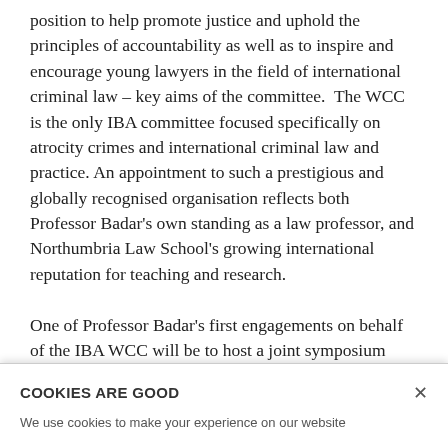position to help promote justice and uphold the principles of accountability as well as to inspire and encourage young lawyers in the field of international criminal law – key aims of the committee. The WCC is the only IBA committee focused specifically on atrocity crimes and international criminal law and practice. An appointment to such a prestigious and globally recognised organisation reflects both Professor Badar's own standing as a law professor, and Northumbria Law School's growing international reputation for teaching and research.

One of Professor Badar's first engagements on behalf of the IBA WCC will be to host a joint symposium with Northumbria Law School on Legal Pluralism and Its Significance to the Work of the International Criminal
COOKIES ARE GOOD
×
We use cookies to make your experience on our website